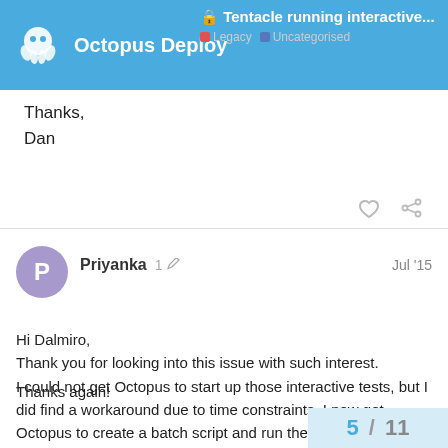Octopus Deploy — Tentacle running interactive... Legacy Uncategorised
Thanks,
Dan
Priyanka  1  Jul '15
Hi Dalmiro,
Thank you for looking into this issue with such interest. I could not get Octopus to start up those interactive tests, but I did find a workaround due to time constraints. I now get Octopus to create a batch script and run the tests externally. If at a later point Octopus can do that directly, I would definitely switch to that.

Thanks again!
5 / 11